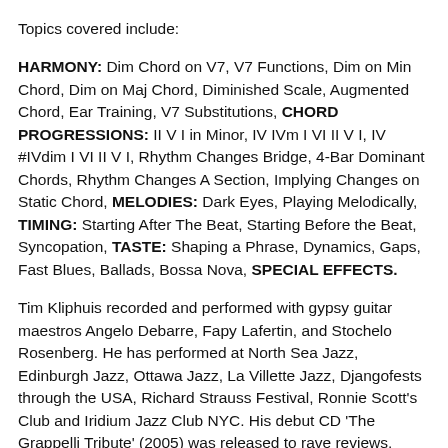Topics covered include:
HARMONY: Dim Chord on V7, V7 Functions, Dim on Min Chord, Dim on Maj Chord, Diminished Scale, Augmented Chord, Ear Training, V7 Substitutions, CHORD PROGRESSIONS: II V I in Minor, IV IVm I VI II V I, IV #IVdim I VI II V I, Rhythm Changes Bridge, 4-Bar Dominant Chords, Rhythm Changes A Section, Implying Changes on Static Chord, MELODIES: Dark Eyes, Playing Melodically, TIMING: Starting After The Beat, Starting Before the Beat, Syncopation, TASTE: Shaping a Phrase, Dynamics, Gaps, Fast Blues, Ballads, Bossa Nova, SPECIAL EFFECTS.
Tim Kliphuis recorded and performed with gypsy guitar maestros Angelo Debarre, Fapy Lafertin, and Stochelo Rosenberg. He has performed at North Sea Jazz, Edinburgh Jazz, Ottawa Jazz, La Villette Jazz, Djangofests through the USA, Richard Strauss Festival, Ronnie Scott's Club and Iridium Jazz Club NYC. His debut CD 'The Grappelli Tribute' (2005) was released to rave reviews.
As a swing jazz educator, Kliphuis has an extensive class of students from Holland and abroad, has hosted dozens of workshops around the globe and was featured several times